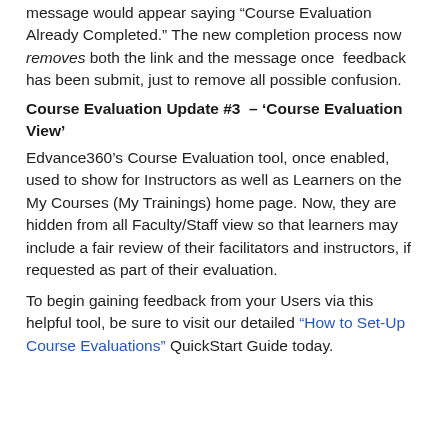message would appear saying “Course Evaluation Already Completed.” The new completion process now removes both the link and the message once feedback has been submit, just to remove all possible confusion.
Course Evaluation Update #3 – ‘Course Evaluation View’
Edvance360’s Course Evaluation tool, once enabled, used to show for Instructors as well as Learners on the My Courses (My Trainings) home page. Now, they are hidden from all Faculty/Staff view so that learners may include a fair review of their facilitators and instructors, if requested as part of their evaluation.
To begin gaining feedback from your Users via this helpful tool, be sure to visit our detailed “How to Set-Up Course Evaluations” QuickStart Guide today.